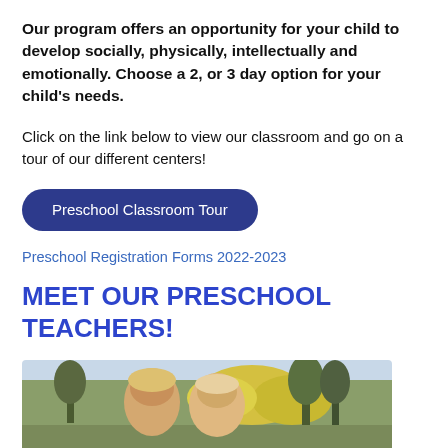Our program offers an opportunity for your child to develop socially, physically, intellectually and emotionally. Choose a 2, or 3 day option for your child's needs.
Click on the link below to view our classroom and go on a tour of our different centers!
Preschool Classroom Tour
Preschool Registration Forms 2022-2023
MEET OUR PRESCHOOL TEACHERS!
[Figure (photo): Photo of preschool teachers outdoors with trees and yellow flowering bushes in the background]